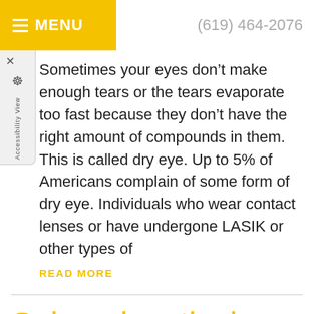MENU | (619) 464-2076
Sometimes your eyes don’t make enough tears or the tears evaporate too fast because they don’t have the right amount of compounds in them. This is called dry eye. Up to 5% of Americans complain of some form of dry eye. Individuals who wear contact lenses or have undergone LASIK or other types of
READ MORE
Subconjunctival Hemorrhage
Category: Common Eye Conditions, Changes in